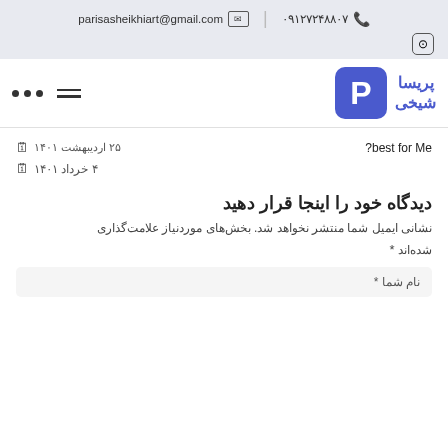parisasheikhiart@gmail.com  ✉  |  ۰۹۱۲۷۲۴۸۸۰۷  📞
[Figure (logo): Parisa Sheikhiart brand logo with blue P icon and Persian name پریسا شیخی]
best for Me?  📅 ۲۵ اردیبهشت ۱۴۰۱
📅 ۴ خرداد ۱۴۰۱
دیدگاه خود را اینجا قرار دهید
نشانی ایمیل شما منتشر نخواهد شد. بخش‌های موردنیاز علامت‌گذاری شده‌اند *
نام شما *